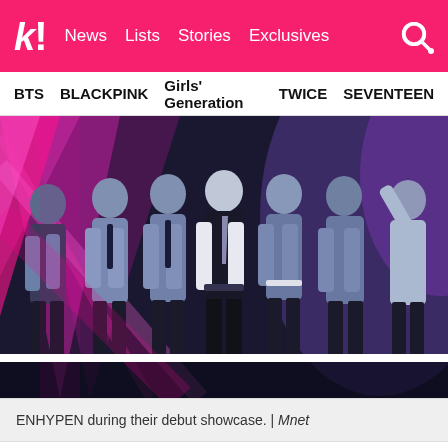k! News Lists Stories Exclusives
BTS BLACKPINK Girls' Generation TWICE SEVENTEEN
[Figure (photo): ENHYPEN group performing on stage at their debut showcase, wearing blue/navy outfits with ties, pink stage lighting in background | Mnet]
ENHYPEN during their debut showcase. | Mnet
After debuting, ENHYPEN quickly took to the stage, performing on a large scale at the annual Mnet Asian Music Awards. It was the toughest time for Heeseung, but, like the others, found